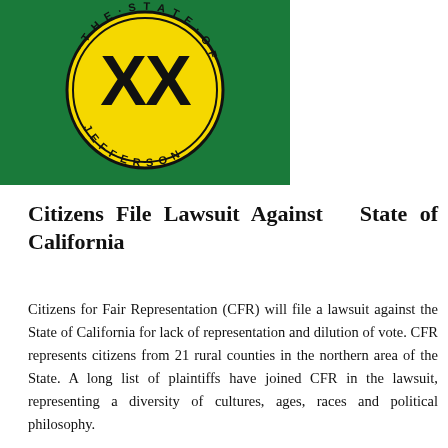[Figure (logo): State of Jefferson seal/logo: green background rectangle with a yellow circle containing a double X and the text 'THE STATE OF JEFFERSON' around the border]
Citizens File Lawsuit Against State of California
Citizens for Fair Representation (CFR) will file a lawsuit against the State of California for lack of representation and dilution of vote. CFR represents citizens from 21 rural counties in the northern area of the State. A long list of plaintiffs have joined CFR in the lawsuit, representing a diversity of cultures, ages, races and political philosophy.